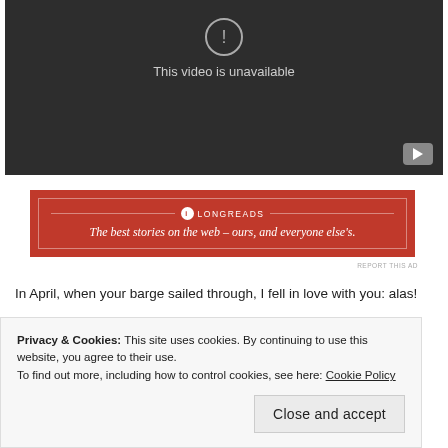[Figure (screenshot): YouTube-style embedded video player showing 'This video is unavailable' message on a dark grey background, with a YouTube play button icon in the bottom right corner.]
[Figure (screenshot): Longreads advertisement banner in red with white text reading 'LONGREADS' and tagline 'The best stories on the web – ours, and everyone else's.']
REPORT THIS AD
In April, when your barge sailed through, I fell in love with you: alas!
Privacy & Cookies: This site uses cookies. By continuing to use this website, you agree to their use.
To find out more, including how to control cookies, see here: Cookie Policy
Close and accept